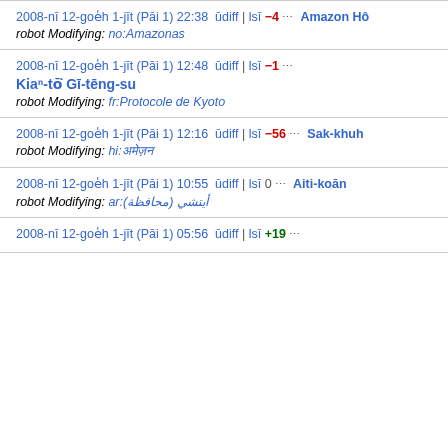2008-nī 12-goe̍h 1-jīt (Pāi 1) 22:38 diff | lsī −4 … Amazon Hô
robot Modifying: no:Amazonas
2008-nī 12-goe̍h 1-jīt (Pāi 1) 12:48 diff | lsī −1 … Kiaⁿ-tō͘ Gī-tēng-su
robot Modifying: fr:Protocole de Kyoto
2008-nī 12-goe̍h 1-jīt (Pāi 1) 12:16 diff | lsī −56 … Sak-khuh
robot Modifying: hi:अमेज़न
2008-nī 12-goe̍h 1-jīt (Pāi 1) 10:55 diff | lsī 0 … Aiti-koān
robot Modifying: ar:أيتشي (محافظة)
2008-nī 12-goe̍h 1-jīt (Pāi 1) 05:56 diff | lsī +19 …